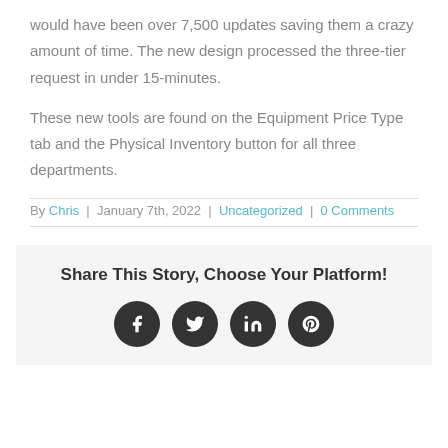would have been over 7,500 updates saving them a crazy amount of time. The new design processed the three-tier request in under 15-minutes.
These new tools are found on the Equipment Price Type tab and the Physical Inventory button for all three departments.
By Chris | January 7th, 2022 | Uncategorized | 0 Comments
Share This Story, Choose Your Platform!